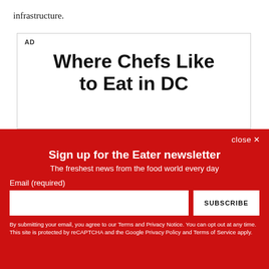infrastructure.
AD
Where Chefs Like to Eat in DC
close ✕
Sign up for the Eater newsletter
The freshest news from the food world every day
Email (required)
SUBSCRIBE
By submitting your email, you agree to our Terms and Privacy Notice. You can opt out at any time. This site is protected by reCAPTCHA and the Google Privacy Policy and Terms of Service apply.